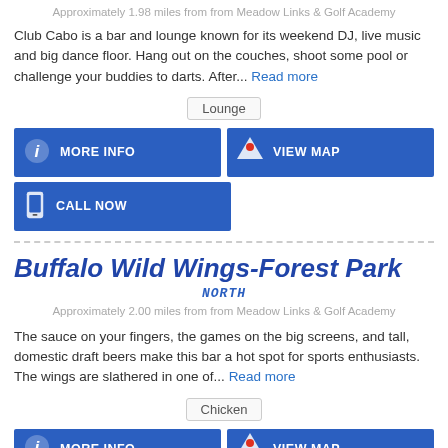Approximately 1.98 miles from from Meadow Links & Golf Academy
Club Cabo is a bar and lounge known for its weekend DJ, live music and big dance floor. Hang out on the couches, shoot some pool or challenge your buddies to darts. After... Read more
Lounge
MORE INFO
VIEW MAP
CALL NOW
Buffalo Wild Wings-Forest Park
NORTH
Approximately 2.00 miles from from Meadow Links & Golf Academy
The sauce on your fingers, the games on the big screens, and tall, domestic draft beers make this bar a hot spot for sports enthusiasts. The wings are slathered in one of... Read more
Chicken